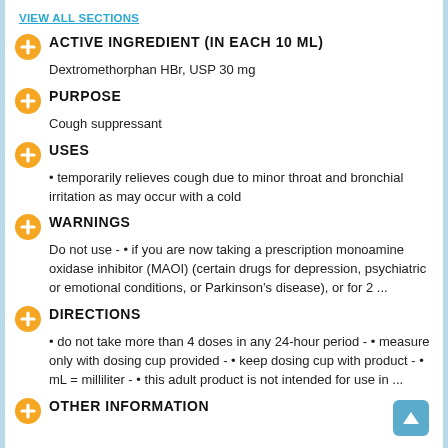VIEW ALL SECTIONS
ACTIVE INGREDIENT (IN EACH 10 ML)
Dextromethorphan HBr, USP 30 mg
PURPOSE
Cough suppressant
USES
temporarily relieves cough due to minor throat and bronchial irritation as may occur with a cold
WARNINGS
Do not use - • if you are now taking a prescription monoamine oxidase inhibitor (MAOI) (certain drugs for depression, psychiatric or emotional conditions, or Parkinson’s disease), or for 2 ...
DIRECTIONS
• do not take more than 4 doses in any 24-hour period - • measure only with dosing cup provided - • keep dosing cup with product - • mL = milliliter - • this adult product is not intended for use in ...
OTHER INFORMATION